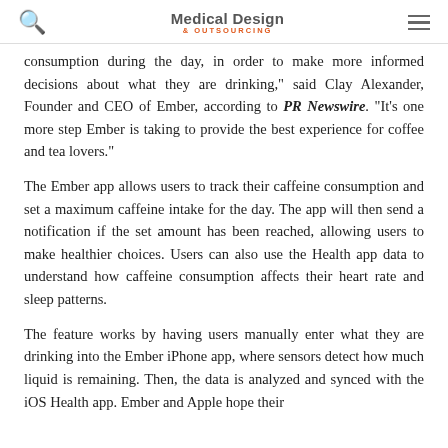Medical Design & Outsourcing
consumption during the day, in order to make more informed decisions about what they are drinking," said Clay Alexander, Founder and CEO of Ember, according to PR Newswire. "It's one more step Ember is taking to provide the best experience for coffee and tea lovers."
The Ember app allows users to track their caffeine consumption and set a maximum caffeine intake for the day. The app will then send a notification if the set amount has been reached, allowing users to make healthier choices. Users can also use the Health app data to understand how caffeine consumption affects their heart rate and sleep patterns.
The feature works by having users manually enter what they are drinking into the Ember iPhone app, where sensors detect how much liquid is remaining. Then, the data is analyzed and synced with the iOS Health app. Ember and Apple hope their